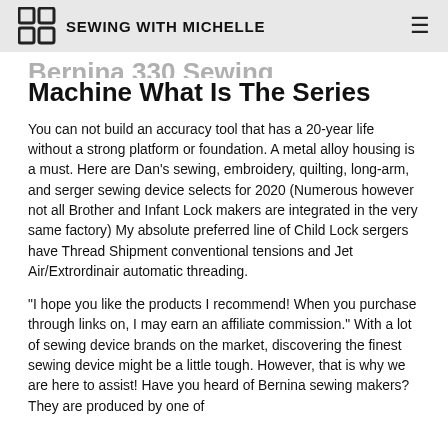SEWING WITH MICHELLE
Bernina 330 Sewing Machine What Is The Series
You can not build an accuracy tool that has a 20-year life without a strong platform or foundation. A metal alloy housing is a must. Here are Dan's sewing, embroidery, quilting, long-arm, and serger sewing device selects for 2020 (Numerous however not all Brother and Infant Lock makers are integrated in the very same factory) My absolute preferred line of Child Lock sergers have Thread Shipment conventional tensions and Jet Air/Extrordinair automatic threading.
"I hope you like the products I recommend! When you purchase through links on, I may earn an affiliate commission." With a lot of sewing device brands on the market, discovering the finest sewing device might be a little tough. However, that is why we are here to assist! Have you heard of Bernina sewing makers? They are produced by one of